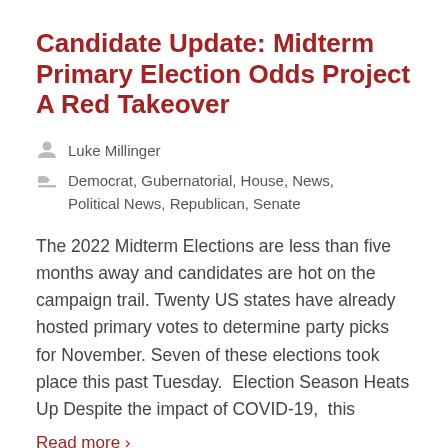Candidate Update: Midterm Primary Election Odds Project A Red Takeover
Luke Millinger
Democrat, Gubernatorial, House, News, Political News, Republican, Senate
The 2022 Midterm Elections are less than five months away and candidates are hot on the campaign trail. Twenty US states have already hosted primary votes to determine party picks for November. Seven of these elections took place this past Tuesday.  Election Season Heats Up Despite the impact of COVID-19,  this
Read more ›